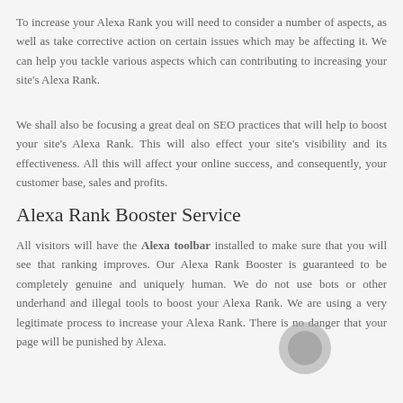To increase your Alexa Rank you will need to consider a number of aspects, as well as take corrective action on certain issues which may be affecting it. We can help you tackle various aspects which can contributing to increasing your site's Alexa Rank.
We shall also be focusing a great deal on SEO practices that will help to boost your site's Alexa Rank. This will also effect your site's visibility and its effectiveness. All this will affect your online success, and consequently, your customer base, sales and profits.
Alexa Rank Booster Service
All visitors will have the Alexa toolbar installed to make sure that you will see that ranking improves. Our Alexa Rank Booster is guaranteed to be completely genuine and uniquely human. We do not use bots or other underhand and illegal tools to boost your Alexa Rank. We are using a very legitimate process to increase your Alexa Rank. There is no danger that your page will be punished by Alexa.